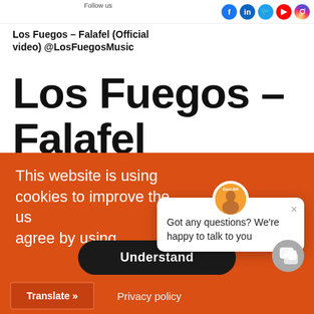Follow us [social icons: Facebook, LinkedIn, Twitter, YouTube, Instagram]
Los Fuegos – Falafel (Official video) @LosFuegosMusic
Los Fuegos – Falafel
This website is using cookies to improve the user experience. You agree by using the website.
Understand
[Figure (screenshot): Chat popup with avatar labeled 'Emol.Riff' saying 'Got any questions? We're happy to talk to you' with an X close button]
Translate »
Privacy policy